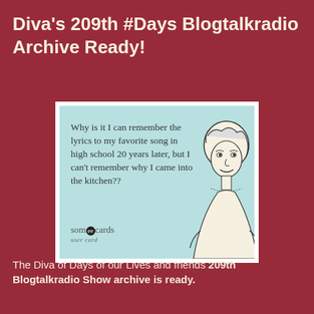Diva's 209th #Days Blogtalkradio Archive Ready!
[Figure (illustration): A someecards 'user card' meme with light blue background. Text reads: 'Why is it I can remember the lyrics to my favorite song in high school 20 years later, but I can't remember why I came into the kitchen??' with a vintage illustration of a woman on the right side and the someecards user card logo at the bottom left.]
The Diva of Days of our Lives and friends 209th Blogtalkradio Show archive is ready.